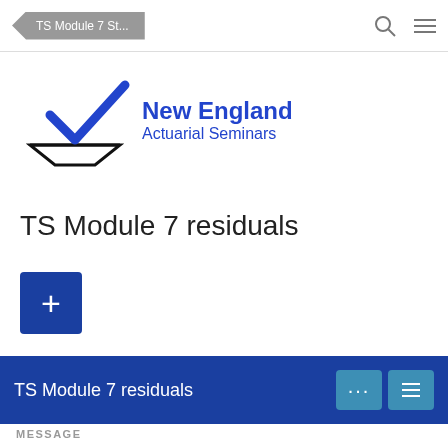TS Module 7 St...
[Figure (logo): New England Actuarial Seminars logo with blue checkmark above a tray icon and bold blue text 'New England Actuarial Seminars']
TS Module 7 residuals
+
TS Module 7 residuals
MESSAGE
NEAS